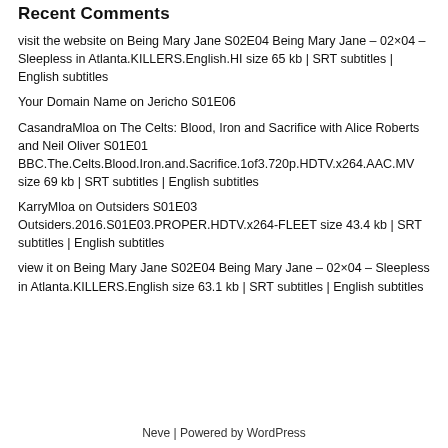Recent Comments
visit the website on Being Mary Jane S02E04 Being Mary Jane – 02×04 – Sleepless in Atlanta.KILLERS.English.HI size 65 kb | SRT subtitles | English subtitles
Your Domain Name on Jericho S01E06
CasandraMloa on The Celts: Blood, Iron and Sacrifice with Alice Roberts and Neil Oliver S01E01 BBC.The.Celts.Blood.Iron.and.Sacrifice.1of3.720p.HDTV.x264.AAC.MV size 69 kb | SRT subtitles | English subtitles
KarryMloa on Outsiders S01E03 Outsiders.2016.S01E03.PROPER.HDTV.x264-FLEET size 43.4 kb | SRT subtitles | English subtitles
view it on Being Mary Jane S02E04 Being Mary Jane – 02×04 – Sleepless in Atlanta.KILLERS.English size 63.1 kb | SRT subtitles | English subtitles
Neve | Powered by WordPress